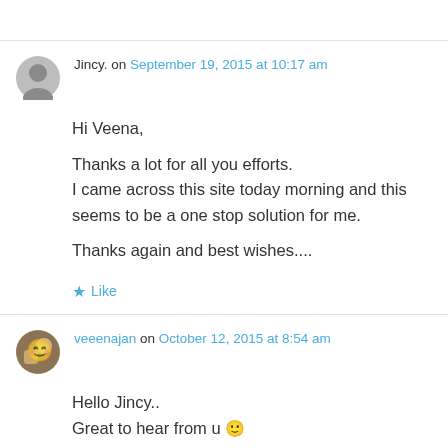Jincy. on September 19, 2015 at 10:17 am
Hi Veena,

Thanks a lot for all you efforts.
I came across this site today morning and this seems to be a one stop solution for me.

Thanks again and best wishes....
★ Like
veeenajan on October 12, 2015 at 8:54 am
Hello Jincy..
Great to hear from u 🙂